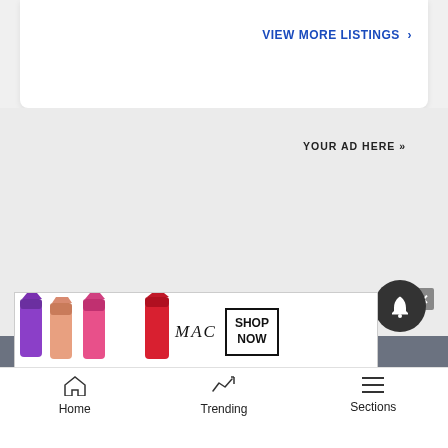VIEW MORE LISTINGS »
YOUR AD HERE »
[Figure (screenshot): MAC cosmetics advertisement banner showing lipsticks in purple, pink, red colors with MAC logo and SHOP NOW button]
Home | Trending | Sections